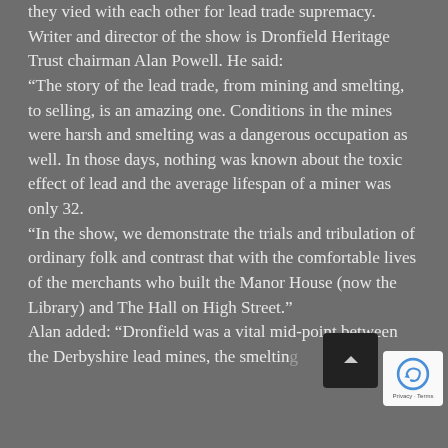they vied with each other for lead trade supremacy. Writer and director of the show is Dronfield Heritage Trust chairman Alan Powell. He said: “The story of the lead trade, from mining and smelting, to selling, is an amazing one. Conditions in the mines were harsh and smelting was a dangerous occupation as well. In those days, nothing was known about the toxic effect of lead and the average lifespan of a miner was only 32. “In the show, we demonstrate the trials and tribulation of ordinary folk and contrast that with the comfortable lives of the merchants who built the Manor House (now the Library) and The Hall on High Street.” Alan added: “Dronfield was a vital mid-point between the Derbyshire lead mines, the smelting